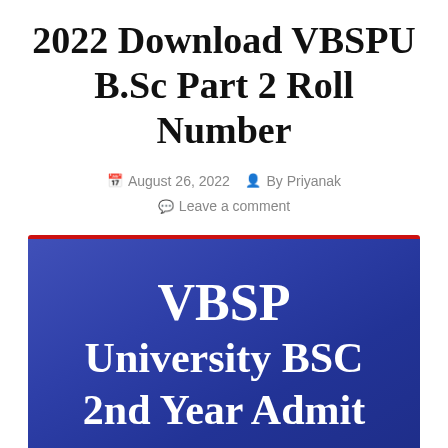2022 Download VBSPU B.Sc Part 2 Roll Number
August 26, 2022  By Priyanak  Leave a comment
[Figure (illustration): Blue banner image with red top border showing text: VBSP University BSC 2nd Year Admit]